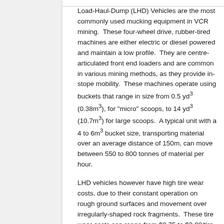Load-Haul-Dump (LHD) Vehicles are the most commonly used mucking equipment in VCR mining. These four-wheel drive, rubber-tired machines are either electric or diesel powered and maintain a low profile. They are centre-articulated front end loaders and are common in various mining methods, as they provide in-stope mobility. These machines operate using buckets that range in size from 0.5 yd³ (0.38m³), for "micro" scoops, to 14 yd³ (10.7m³) for large scoops. A typical unit with a 4 to 6m³ bucket size, transporting material over an average distance of 150m, can move between 550 to 800 tonnes of material per hour.
LHD vehicles however have high tire wear costs, due to their constant operation on rough ground surfaces and movement over irregularly-shaped rock fragments. These tire wear costs can range from $0.75 to $3.00/tire per hour, therefore total unit costs have been calculated to range between $3.00 and